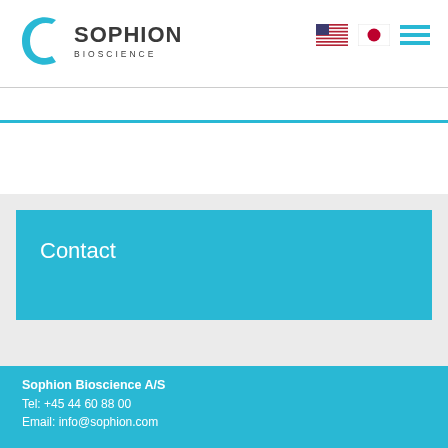[Figure (logo): Sophion Bioscience logo with teal circular C icon and company name]
[Figure (other): US flag icon, Japanese flag icon, and hamburger menu icon in navigation bar]
Contact
Sophion Bioscience A/S
Tel: +45 44 60 88 00
Email: info@sophion.com